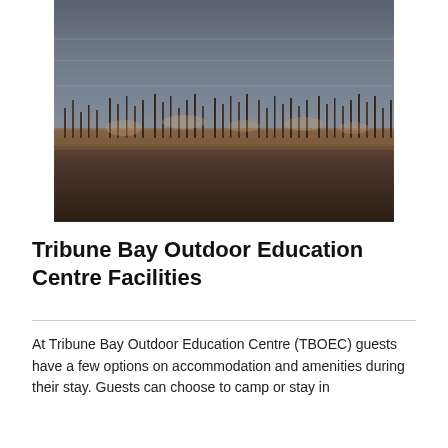[Figure (photo): Outdoor nature photo showing reeds or marsh grass in the foreground against a grey water or sky background, taken at dusk or dawn with muted dark tones.]
Tribune Bay Outdoor Education Centre Facilities
At Tribune Bay Outdoor Education Centre (TBOEC) guests have a few options on accommodation and amenities during their stay. Guests can choose to camp or stay in